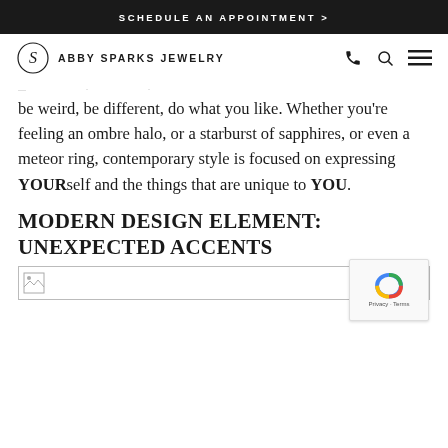SCHEDULE AN APPOINTMENT >
[Figure (logo): Abby Sparks Jewelry logo with circular S emblem and navigation icons (phone, search, hamburger menu)]
be weird, be different, do what you like. Whether you’re feeling an ombre halo, or a starburst of sapphires, or even a meteor ring, contemporary style is focused on expressing YOURself and the things that are unique to YOU.
MODERN DESIGN ELEMENT: UNEXPECTED ACCENTS
[Figure (photo): Broken image placeholder at the bottom of the page]